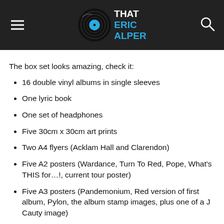That Eric Alper
The box set looks amazing, check it:
16 double vinyl albums in single sleeves
One lyric book
One set of headphones
Five 30cm x 30cm art prints
Two A4 flyers (Acklam Hall and Clarendon)
Five A2 posters (Wardance, Turn To Red, Pope, What's THIS for…!, current tour poster)
Five A3 posters (Pandemonium, Red version of first album, Pylon, the album stamp images, plus one of a J Cauty image)
One set of six postcards (images supplied by Youth)